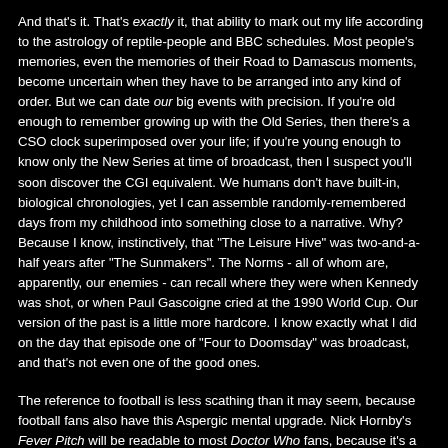And that's it. That's exactly it, that ability to mark out my life according to the astrology of reptile-people and BBC schedules. Most people's memories, even the memories of their Road to Damascus moments, become uncertain when they have to be arranged into any kind of order. But we can date our big events with precision. If you're old enough to remember growing up with the Old Series, then there's a CSO clock superimposed over your life; if you're young enough to know only the New Series at time of broadcast, then I suspect you'll soon discover the CGI equivalent. We humans don't have built-in, biological chronologies, yet I can assemble randomly-remembered days from my childhood into something close to a narrative. Why? Because I know, instinctively, that "The Leisure Hive" was two-and-a-half years after "The Sunmakers". The Norms - all of whom are, apparently, our enemies - can recall where they were when Kennedy was shot, or when Paul Gascoigne cried at the 1990 World Cup. Our version of the past is a little more hardcore. I know exactly what I did on the day that episode one of "Four to Doomsday" was broadcast, and that's not even one of the good ones.
The reference to football is less scathing than it may seem, because football fans also have this Aspergic mental upgrade. Nick Hornby's Fever Pitch will be readable to most Doctor Who fans, because it's a